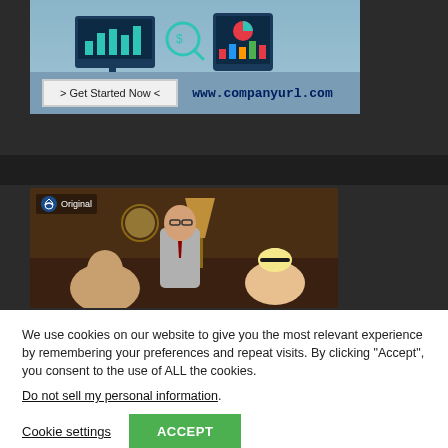[Figure (screenshot): Advertisement banner with analytics/dashboard illustration showing monitors with charts, a 'Get Started Now' button, and 'www.companyurl.com' URL, on a blue-grey background]
[Figure (photo): TV show still image with Paramount+ Original badge. Shows three people in a styled room with a lamp and clock in the background.]
We use cookies on our website to give you the most relevant experience by remembering your preferences and repeat visits. By clicking "Accept", you consent to the use of ALL the cookies.
Do not sell my personal information.
Cookie settings
ACCEPT